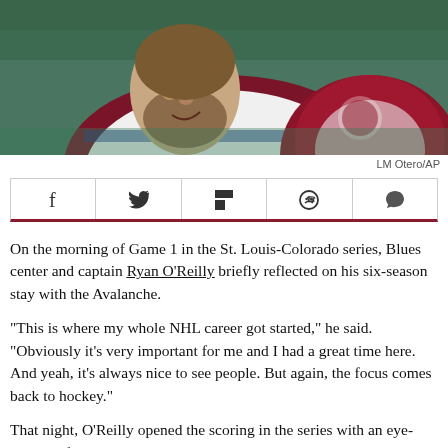[Figure (photo): Close-up of a hockey player wearing a white jersey with maroon accents (Colorado Avalanche uniform), appearing to be speaking or expressing emotion, with a beard, in an arena setting.]
LM Otero/AP
[Figure (infographic): Social media share bar with five buttons: Facebook (f), Twitter (bird icon), Flipboard (F), WhatsApp (phone icon), and Comments (speech bubble icon). Bottom border is dark red/maroon.]
On the morning of Game 1 in the St. Louis-Colorado series, Blues center and captain Ryan O'Reilly briefly reflected on his six-season stay with the Avalanche.
“This is where my whole NHL career got started,” he said. “Obviously it’s very important for me and I had a great time here. And yeah, it’s always nice to see people. But again, the focus comes back to hockey.”
That night, O’Reilly opened the scoring in the series with an eye-popping first-period goal, but the Avalanche